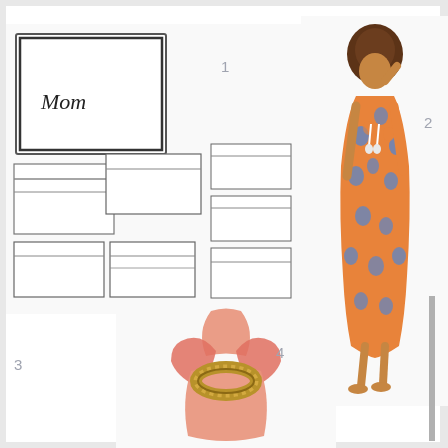[Figure (photo): White linens set including a pillow with 'Mom' embroidered in script, multiple folded white towels and napkins with dark border trim, arranged in a flat lay product shot. Number label '1' nearby.]
[Figure (photo): Woman wearing a floral maxi dress in orange and blue pattern with tassel ties, standing barefoot. Number label '2' nearby.]
[Figure (photo): A pink linen napkin folded and held in a decorative gold/woven napkin ring. Number label '4' nearby.]
[Figure (photo): Partial view of what appears to be a silver/metallic item on the right edge. Number label '3' partially visible.]